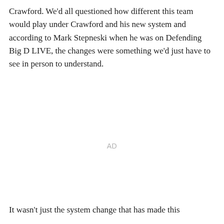Crawford. We'd all questioned how different this team would play under Crawford and his new system and according to Mark Stepneski when he was on Defending Big D LIVE, the changes were something we'd just have to see in person to understand.
AD
It wasn't just the system change that has made this